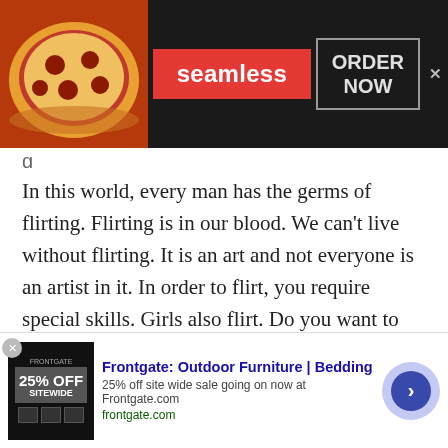[Figure (screenshot): Seamless food delivery advertisement banner with pizza image on left, red Seamless badge in center, and ORDER NOW button with close X on dark background]
In this world, every man has the germs of flirting. Flirting is in our blood. We can't live without flirting. It is an art and not everyone is an artist in it. In order to flirt, you require special skills. Girls also flirt. Do you want to hook up with a girl and start flirting? Do you want to express your feelings for a beautiful girl? If yes, then join Talk With Stranger Tanzanian Flirt Chat room and flirt for free with pretty girls. You will find thousands of girls ready to connect with you. You are not even required to register
[Figure (screenshot): Frontgate Outdoor Furniture Bedding advertisement with 25% off sitewide sale, showing product thumbnail, text, and arrow button]